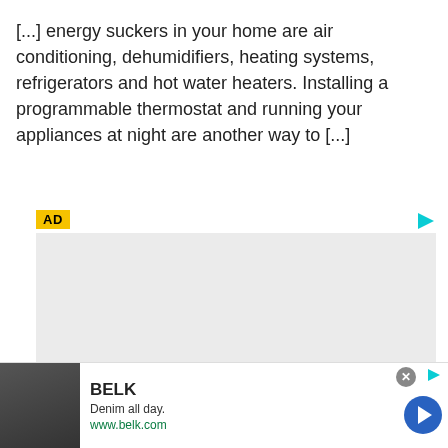[...] energy suckers in your home are air conditioning, dehumidifiers, heating systems, refrigerators and hot water heaters. Installing a programmable thermostat and running your appliances at night are another way to [...]
[Figure (other): Advertisement placeholder box with AD label badge and cyan play button triangle icon in top right corner. Gray rectangle body. Yellow tick mark at bottom left.]
[Figure (other): Banner advertisement for BELK showing 'Denim all day. www.belk.com' with thumbnail images of people in denim on the left, a close button (X in gray circle) top right, a cyan play button, and a blue circular arrow button on the right.]